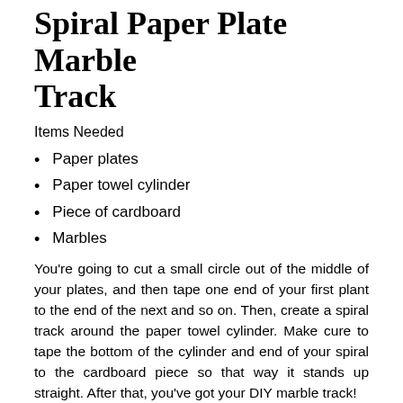Spiral Paper Plate Marble Track
Items Needed
Paper plates
Paper towel cylinder
Piece of cardboard
Marbles
You’re going to cut a small circle out of the middle of your plates, and then tape one end of your first plant to the end of the next and so on. Then, create a spiral track around the paper towel cylinder. Make cure to tape the bottom of the cylinder and end of your spiral to the cardboard piece so that way it stands up straight. After that, you’ve got your DIY marble track!
Easter Crafts Not Just for